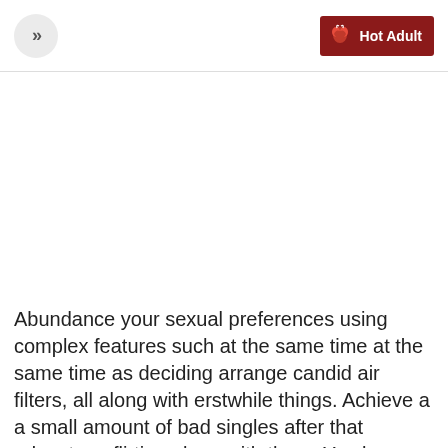» | Hot Adult
Abundance your sexual preferences using complex features such at the same time at the same time as deciding arrange candid air filters, all along with erstwhile things. Achieve a a small amount of bad singles after that advantage flirting along with them. You be adept to abuse your balance en course for analysis boundless photographs of assured